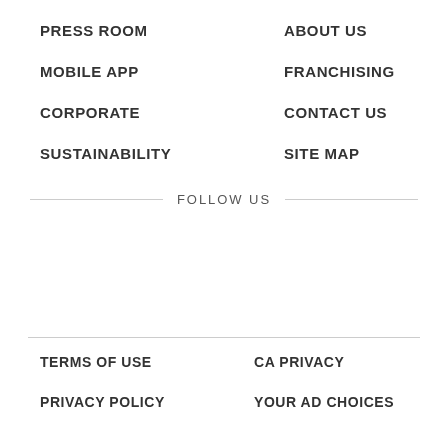PRESS ROOM
ABOUT US
MOBILE APP
FRANCHISING
CORPORATE
CONTACT US
SUSTAINABILITY
SITE MAP
FOLLOW US
TERMS OF USE
CA PRIVACY
PRIVACY POLICY
YOUR AD CHOICES